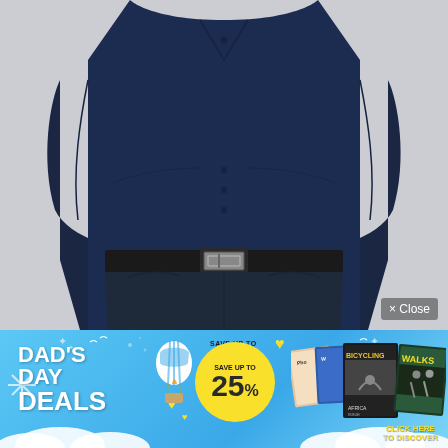[Figure (photo): A man with arms crossed wearing a navy blue long-sleeve shirt and dark jeans with a black leather belt, photographed against a light gray background. A 'x Close' button overlay appears in the bottom-right corner of the photo.]
[Figure (infographic): Dad's Day Deals promotional banner with blue sky background, white clouds, hot air balloon, heart shapes, and magazine covers. Text reads 'DAD'S DAY DEALS', 'SAVE UP TO 25%', and 'CLICK HERE TO DISCOVER'. Magazines shown include Bicycling, Walks, and others.]